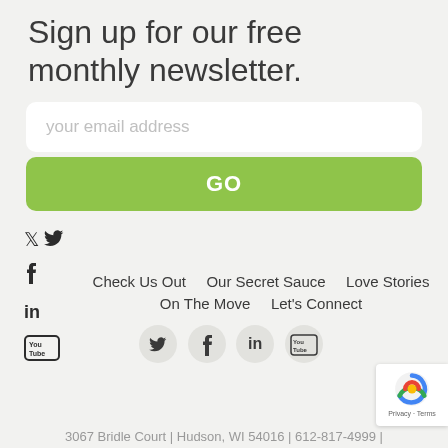Sign up for our free monthly newsletter.
[Figure (screenshot): Email input field with placeholder 'your email address']
[Figure (screenshot): Green GO button for newsletter signup]
Twitter icon (left sidebar)
Facebook icon (left sidebar)
LinkedIn icon (left sidebar)
YouTube icon (left sidebar)
Check Us Out   Our Secret Sauce   Love Stories   On The Move   Let's Connect
[Figure (screenshot): Social media icon circles: Twitter, Facebook, LinkedIn, YouTube]
3067 Bridle Court | Hudson, WI 54016 | 612-817-4999 |